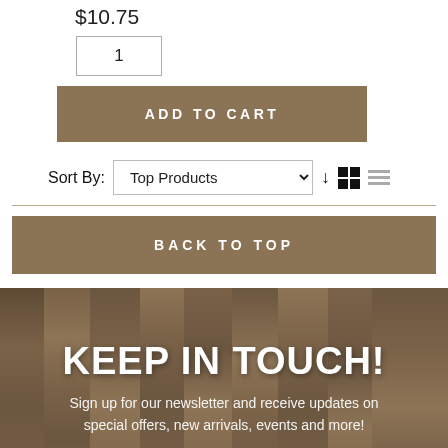$10.75
1
ADD TO CART
Sort By: Top Products
BACK TO TOP
KEEP IN TOUCH!
Sign up for our newsletter and receive updates on special offers, new arrivals, events and more!